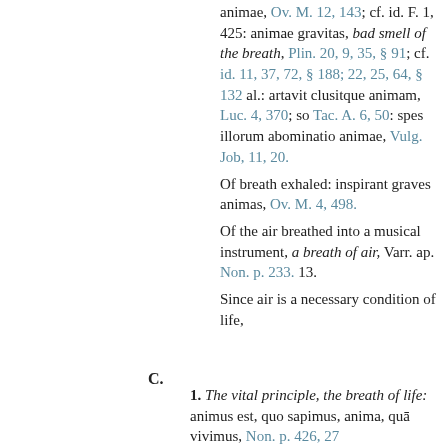animae, Ov. M. 12, 143; cf. id. F. 1, 425: animae gravitas, bad smell of the breath, Plin. 20, 9, 35, § 91; cf. id. 11, 37, 72, § 188; 22, 25, 64, § 132 al.: artavit clusitque animam, Luc. 4, 370; so Tac. A. 6, 50: spes illorum abominatio animae, Vulg. Job, 11, 20.
Of breath exhaled: inspirant graves animas, Ov. M. 4, 498.
Of the air breathed into a musical instrument, a breath of air, Varr. ap. Non. p. 233. 13.
Since air is a necessary condition of life,
C.
1. The vital principle, the breath of life: animus est, quo sapimus, anima, quā vivimus, Non. p. 426, 27